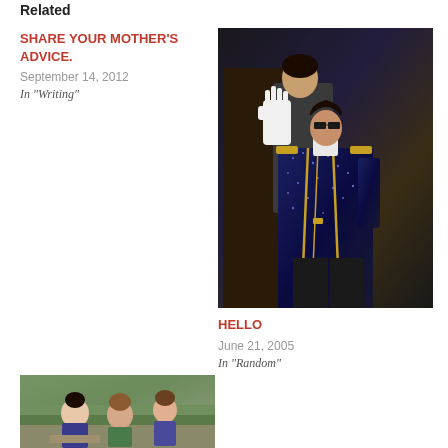Related
SHARE YOUR MOTHER'S ADVICE.
September 14, 2012
In "Writing"
[Figure (photo): Man in sequined military jacket with white glove raised, wearing sunglasses, waving]
HELLO
June 21, 2005
In "Random"
[Figure (photo): Group of people outdoors, casual setting]